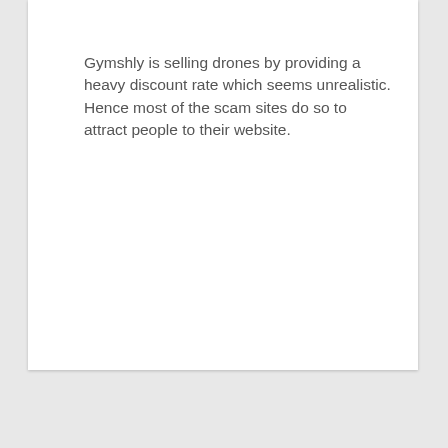Gymshly is selling drones by providing a heavy discount rate which seems unrealistic. Hence most of the scam sites do so to attract people to their website.